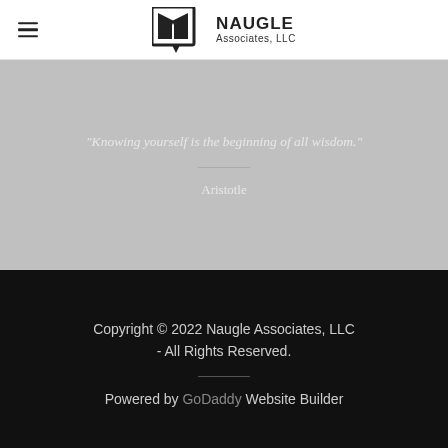Naugle Associates, LLC
"Knowing yourself is the beginning of all wisdom."
Aristotle
Copyright © 2022 Naugle Associates, LLC - All Rights Reserved.
Powered by GoDaddy Website Builder